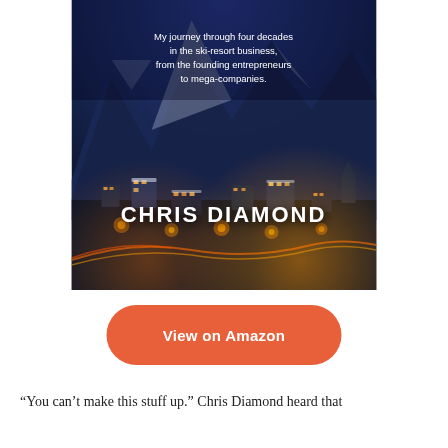[Figure (photo): Book cover for 'Chris Diamond' memoir about four decades in the ski-resort business. Features a nighttime aerial photo of a snow-covered ski resort town with glowing orange street lights, light trails from cars on winding roads, dark blue mountain slopes in the background, and snowy rooftops in the foreground. White text overlaid with subtitle and author name.]
View on Amazon
“You can’t make this stuff up.” Chris Diamond heard that